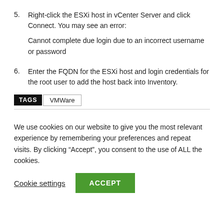5. Right-click the ESXi host in vCenter Server and click Connect. You may see an error:
Cannot complete due login due to an incorrect username or password
6. Enter the FQDN for the ESXi host and login credentials for the root user to add the host back into Inventory.
TAGS  VMWare
We use cookies on our website to give you the most relevant experience by remembering your preferences and repeat visits. By clicking “Accept”, you consent to the use of ALL the cookies.
Cookie settings   ACCEPT